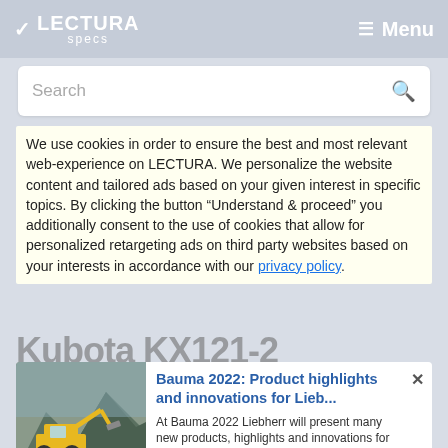LECTURA specs   Menu
Search
We use cookies in order to ensure the best and most relevant web-experience on LECTURA. We personalize the website content and tailored ads based on your given interest in specific topics. By clicking the button “Understand & proceed” you additionally consent to the use of cookies that allow for personalized retargeting ads on third party websites based on your interests in accordance with our privacy policy.
Kubota KX121-2
[Figure (photo): Photo of a yellow excavator/wheel loader working on a rocky terrain with mountains in background]
Bauma 2022: Product highlights and innovations for Lieb...
At Bauma 2022 Liebherr will present many new products, highlights and innovations for the earthmovin...
More breaking news